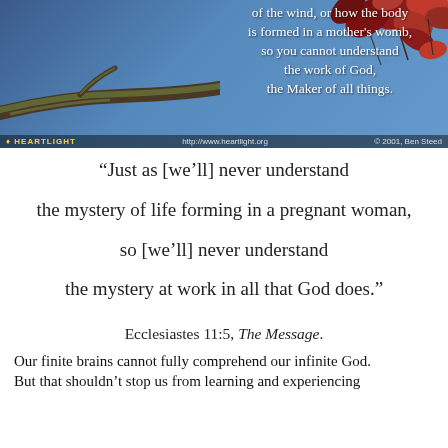[Figure (photo): Photo of tree branch with red maple leaves against a blue sky. Overlaid white text reads: 'of the wind, or how the body is formed in a mother's womb, so you cannot understand the work of God, the Maker of all things.' Footer bar shows HEARTLIGHT logo, http://www.heartlight.org, and © 2001, Ben Steed.]
“Just as [we’ll] never understand the mystery of life forming in a pregnant woman, so [we’ll] never understand the mystery at work in all that God does.”
Ecclesiastes 11:5, The Message.
Our finite brains cannot fully comprehend our infinite God. But that shouldn’t stop us from learning and experiencing